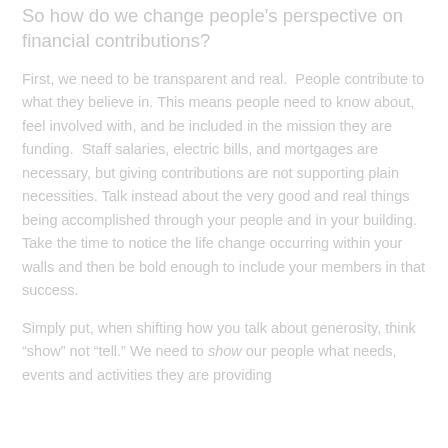So how do we change people's perspective on financial contributions?
First, we need to be transparent and real.  People contribute to what they believe in. This means people need to know about, feel involved with, and be included in the mission they are funding.  Staff salaries, electric bills, and mortgages are necessary, but giving contributions are not supporting plain necessities. Talk instead about the very good and real things being accomplished through your people and in your building.  Take the time to notice the life change occurring within your walls and then be bold enough to include your members in that success.
Simply put, when shifting how you talk about generosity, think “show” not “tell.” We need to show our people what needs, events and activities they are providing